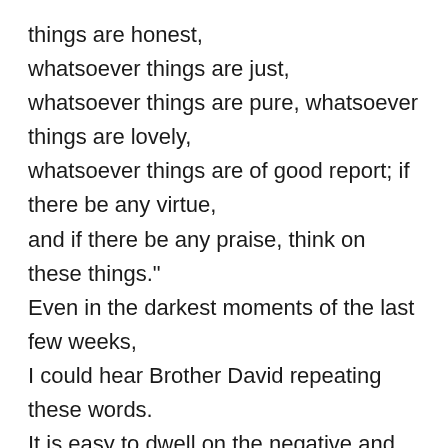things are honest, whatsoever things are just, whatsoever things are pure, whatsoever things are lovely, whatsoever things are of good report; if there be any virtue, and if there be any praise, think on these things." Even in the darkest moments of the last few weeks, I could hear Brother David repeating these words. It is easy to dwell on the negative and let fear consume you. But, fear is the absence of faith and is not of God. You have the power to change your thoughts and your words. There is so much power in thinking and speaking positively. So, we choose to focus on the positive and to fill our